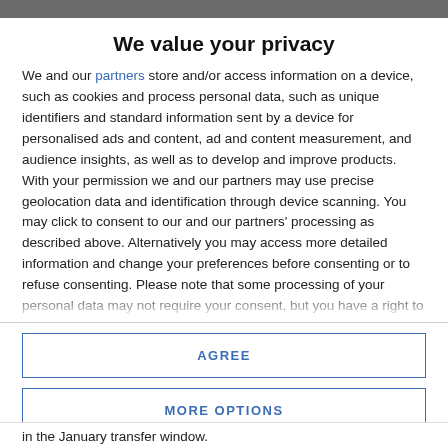We value your privacy
We and our partners store and/or access information on a device, such as cookies and process personal data, such as unique identifiers and standard information sent by a device for personalised ads and content, ad and content measurement, and audience insights, as well as to develop and improve products. With your permission we and our partners may use precise geolocation data and identification through device scanning. You may click to consent to our and our partners' processing as described above. Alternatively you may access more detailed information and change your preferences before consenting or to refuse consenting. Please note that some processing of your personal data may not require your consent, but you have a right to
AGREE
MORE OPTIONS
in the January transfer window.